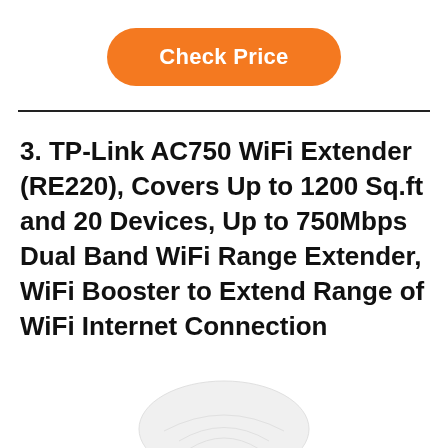[Figure (other): Orange rounded rectangle button with white bold text reading 'Check Price']
3. TP-Link AC750 WiFi Extender (RE220), Covers Up to 1200 Sq.ft and 20 Devices, Up to 750Mbps Dual Band WiFi Range Extender, WiFi Booster to Extend Range of WiFi Internet Connection
[Figure (photo): Partial top view of a white TP-Link WiFi range extender device]